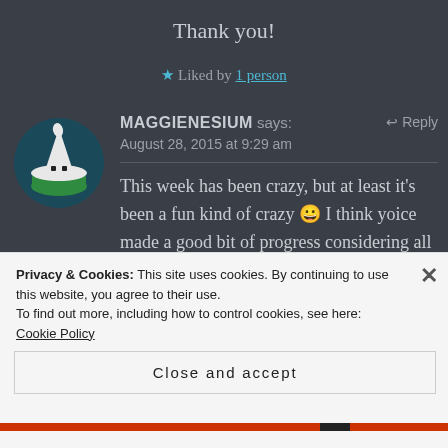Thank you!
★ Liked by 1 person
MAGGIENESIUM says:   ↩ Reply
August 28, 2015 at 9:29 am
This week has been crazy, but at least it's been a fun kind of crazy 😀 I think yoice made a good bit of progress considering all tjats going on, and it looks great!
Privacy & Cookies: This site uses cookies. By continuing to use this website, you agree to their use.
To find out more, including how to control cookies, see here: Cookie Policy
Close and accept